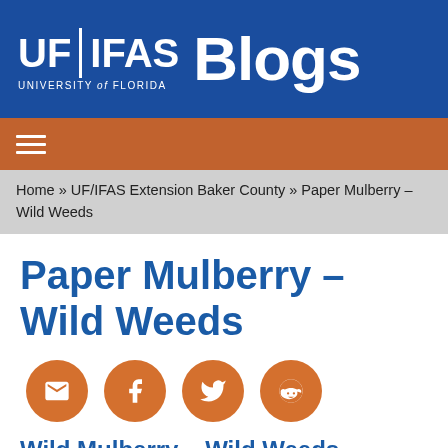UF|IFAS Blogs – University of Florida
Home » UF/IFAS Extension Baker County » Paper Mulberry – Wild Weeds
Paper Mulberry – Wild Weeds
[Figure (other): Social sharing icons: email, Facebook, Twitter, Reddit]